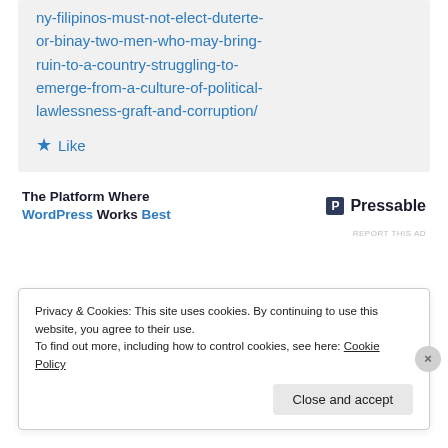ny-filipinos-must-not-elect-duterte-or-binay-two-men-who-may-bring-ruin-to-a-country-struggling-to-emerge-from-a-culture-of-political-lawlessness-graft-and-corruption/
Like
[Figure (other): Pressable advertisement banner: 'The Platform Where WordPress Works Best' with Pressable logo]
REPORT THIS AD
Privacy & Cookies: This site uses cookies. By continuing to use this website, you agree to their use.
To find out more, including how to control cookies, see here: Cookie Policy